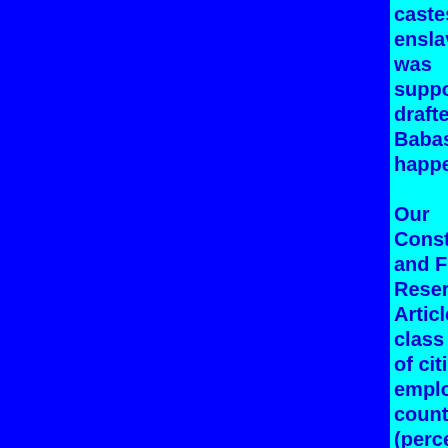castes'. This disastrous caste system had enslaved the country for over 2000 years was supposed to have ended with the adoption drafted by Babasaheb Dr. Ambedkar on Jan. 26, 19 happened.
Our Constitution is based on the principles of and Fraternity. In accordance with these Reservation System in public services is Article 16(4) to give 'adequate representation class of citizens'. But the following statistics on employment exposes the hypocrisy of all country (percentage of population in brackets):
| Category | SCs (20%) | STs (10%) | O (15%) | Of Jobs |
| --- | --- | --- | --- | --- |
| Group A | 11.5% | 4.8% |  |